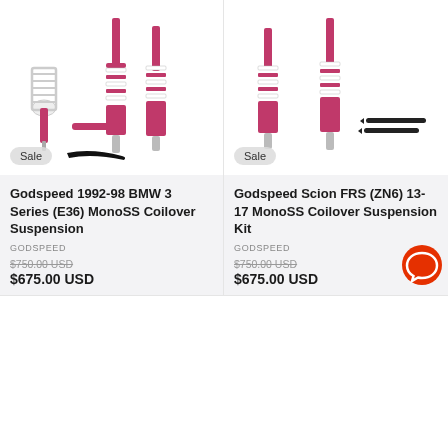[Figure (photo): Godspeed 1992-98 BMW 3 Series (E36) MonoSS Coilover Suspension kit photo with Sale badge]
[Figure (photo): Godspeed Scion FRS (ZN6) 13-17 MonoSS Coilover Suspension Kit photo with Sale badge]
Godspeed 1992-98 BMW 3 Series (E36) MonoSS Coilover Suspension
GODSPEED
$750.00 USD (strikethrough)
$675.00 USD
Godspeed Scion FRS (ZN6) 13-17 MonoSS Coilover Suspension Kit
GODSPEED
$750.00 USD (strikethrough)
$675.00 USD